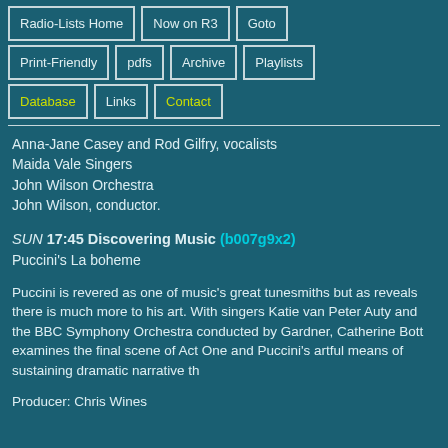Radio-Lists Home
Now on R3
Goto
Print-Friendly
pdfs
Archive
Playlists
Database
Links
Contact
Anna-Jane Casey and Rod Gilfry, vocalists
Maida Vale Singers
John Wilson Orchestra
John Wilson, conductor.
SUN 17:45 Discovering Music (b007g9x2)
Puccini's La boheme
Puccini is revered as one of music's great tunesmiths but as reveals there is much more to his art. With singers Katie van Peter Auty and the BBC Symphony Orchestra conducted by Gardner, Catherine Bott examines the final scene of Act One and Puccini's artful means of sustaining dramatic narrative th
Producer: Chris Wines